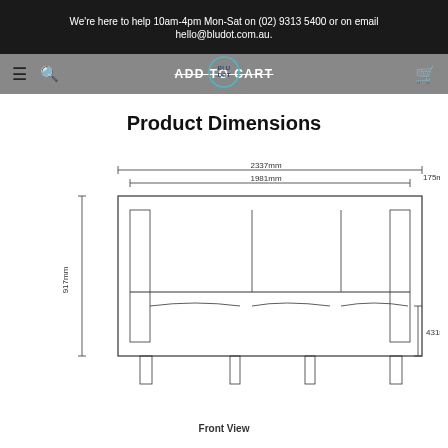We're here to help 10am-4pm Mon-Sat on (02) 9313 5400 or on email hello@bludot.com.au.
ADD TO CART
Product Dimensions
[Figure (engineering-diagram): Front view technical drawing of a three-seat sofa with dimensions: 2337mm total width, 1981mm inner width, 917mm height, 431mm seat height, 175mm arm width.]
Front View